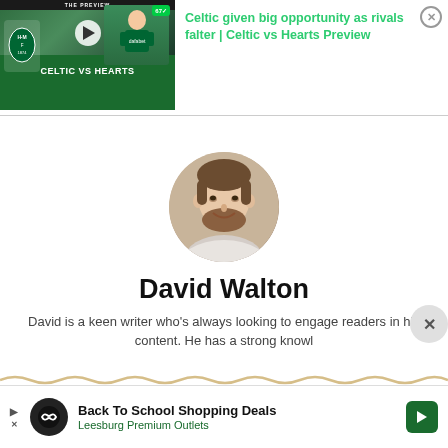[Figure (screenshot): Celtic vs Hearts football preview video thumbnail with play button, green background and team logos]
Celtic given big opportunity as rivals falter | Celtic vs Hearts Preview
[Figure (photo): Circular profile photo of David Walton, a young man with beard and short hair]
David Walton
David is a keen writer who's always looking to engage readers in his content. He has a strong knowl
[Figure (infographic): Back To School Shopping Deals advertisement for Leesburg Premium Outlets]